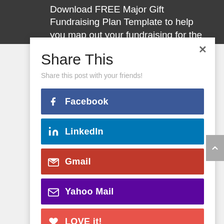Download FREE Major Gift Fundraising Plan Template to help you map out your fundraising for the
Share This
Share this post with your friends!
Facebook
LinkedIn
Gmail
Yahoo Mail
LOVE it!